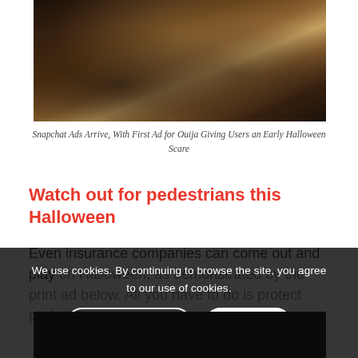[Figure (photo): Hands on a Ouija board, dark and moody photograph]
Snapchat Ads Arrive, With First Ad for Ouija Giving Users an Early Halloween Scare
Watch out for pedestrians this Halloween
Even insurance companies can come out and play on Halloween, as demonstrated by the print ad below. All you have to do is protect pedestrians on
We use cookies. By continuing to browse the site, you agree to our use of cookies.